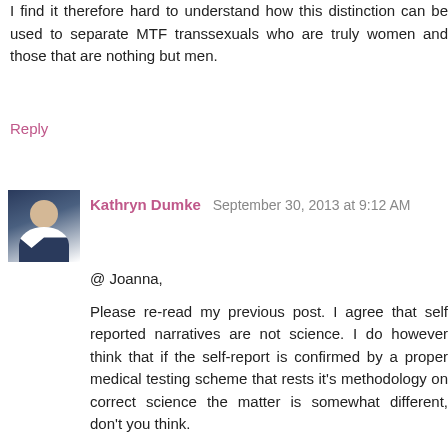I find it therefore hard to understand how this distinction can be used to separate MTF transsexuals who are truly women and those that are nothing but men.
Reply
Kathryn Dumke  September 30, 2013 at 9:12 AM
@ Joanna,
Please re-read my previous post. I agree that self reported narratives are not science. I do however think that if the self-report is confirmed by a proper medical testing scheme that rests it's methodology on correct science the matter is somewhat different, don't you think.
@ Jack
The reason why I stay away from gender and also gender dysphoria is that it is really a social concept and in this regard a mental health concept as opposed to sex, which is a medical concept.